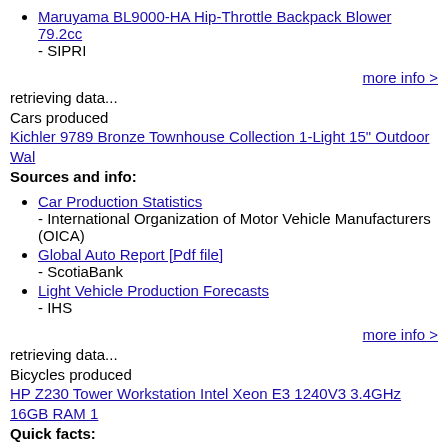Maruyama BL9000-HA Hip-Throttle Backpack Blower 79.2cc
- SIPRI
more info >
retrieving data...
Cars produced
Kichler 9789 Bronze Townhouse Collection 1-Light 15" Outdoor Wal
Sources and info:
Car Production Statistics
- International Organization of Motor Vehicle Manufacturers (OICA)
Global Auto Report [Pdf file]
- ScotiaBank
Light Vehicle Production Forecasts
- IHS
more info >
retrieving data...
Bicycles produced
HP Z230 Tower Workstation Intel Xeon E3 1240V3 3.4GHz 16GB RAM 1
Quick facts: